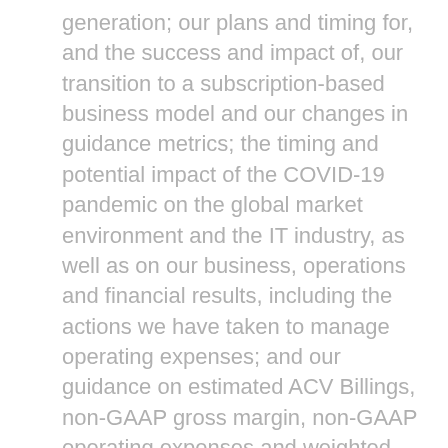generation; our plans and timing for, and the success and impact of, our transition to a subscription-based business model and our changes in guidance metrics; the timing and potential impact of the COVID-19 pandemic on the global market environment and the IT industry, as well as on our business, operations and financial results, including the actions we have taken to manage operating expenses; and our guidance on estimated ACV Billings, non-GAAP gross margin, non-GAAP operating expenses and weighted shares outstanding for any future fiscal periods. These forward-looking statements are not historical facts and instead are based on our current expectations, estimates, opinions, and beliefs. Consequently, you should not rely on these forward-looking statements. The accuracy of these forward-